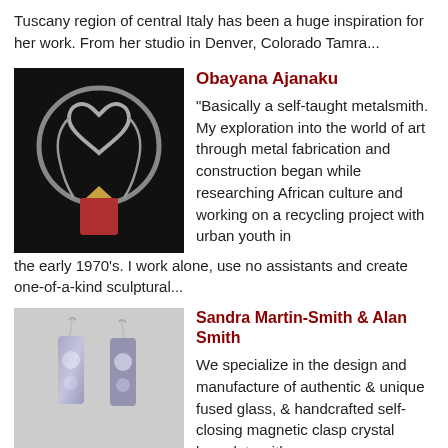Tuscany region of central Italy has been a huge inspiration for her work.   From her studio in Denver, Colorado Tamra...
[Figure (photo): A silver heart-shaped necklace with a red coral pendant on a dark background]
Obayana Ajanaku
"Basically a self-taught metalsmith. My exploration into the world of art through metal fabrication and construction began while researching African culture and working on a recycling project with urban youth in the early 1970's. I work alone, use no assistants and create one-of-a-kind sculptural...
[Figure (photo): A pair of fused glass earrings with iridescent pearl-like designs on a light gray background]
Sandra Martin-Smith & Alan Smith
We specialize in the design and manufacture of authentic & unique fused glass, & handcrafted self-closing magnetic clasp crystal bracelets with